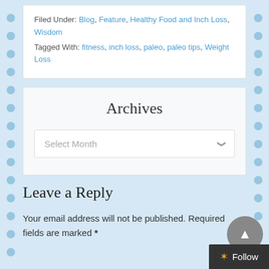Filed Under: Blog, Feature, Healthy Food and Inch Loss, Wisdom
Tagged With: fitness, inch loss, paleo, paleo tips, Weight Loss
Archives
Select Month
Leave a Reply
Your email address will not be published. Required fields are marked *